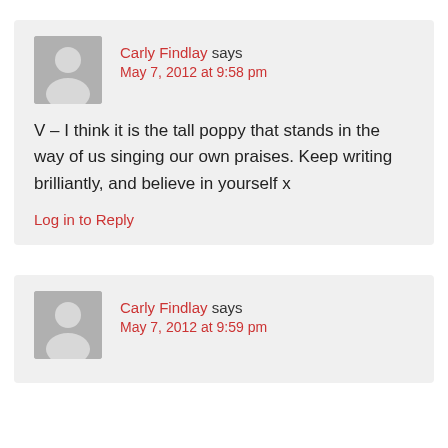Carly Findlay says
May 7, 2012 at 9:58 pm
V – I think it is the tall poppy that stands in the way of us singing our own praises. Keep writing brilliantly, and believe in yourself x
Log in to Reply
Carly Findlay says
May 7, 2012 at 9:59 pm